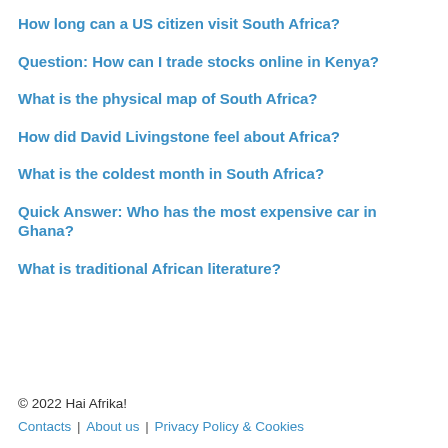How long can a US citizen visit South Africa?
Question: How can I trade stocks online in Kenya?
What is the physical map of South Africa?
How did David Livingstone feel about Africa?
What is the coldest month in South Africa?
Quick Answer: Who has the most expensive car in Ghana?
What is traditional African literature?
© 2022 Hai Afrika!
Contacts | About us | Privacy Policy & Cookies